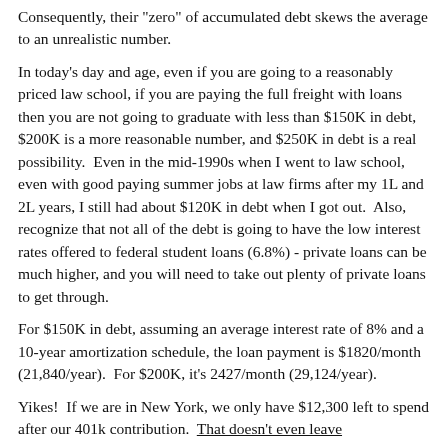Consequently, their "zero" of accumulated debt skews the average to an unrealistic number.
In today's day and age, even if you are going to a reasonably priced law school, if you are paying the full freight with loans then you are not going to graduate with less than $150K in debt, $200K is a more reasonable number, and $250K in debt is a real possibility.  Even in the mid-1990s when I went to law school, even with good paying summer jobs at law firms after my 1L and 2L years, I still had about $120K in debt when I got out.  Also, recognize that not all of the debt is going to have the low interest rates offered to federal student loans (6.8%) - private loans can be much higher, and you will need to take out plenty of private loans to get through.
For $150K in debt, assuming an average interest rate of 8% and a 10-year amortization schedule, the loan payment is $1820/month (21,840/year).  For $200K, it's 2427/month (29,124/year).
Yikes!  If we are in New York, we only have $12,300 left to spend after our 401k contribution.  That doesn't even leave